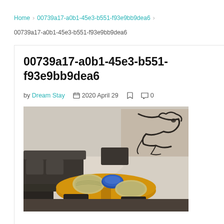Home › 00739a17-a0b1-45e3-b551-f93e9bb9dea6 ›
00739a17-a0b1-45e3-b551-f93e9bb9dea6
00739a17-a0b1-45e3-b551-f93e9bb9dea6
by Dream Stay  📅 2020 April 29  🔖  💬 0
[Figure (photo): Interior dining room photo showing a round wooden table with woven placemats and a blue ceramic bowl, surrounded by dark upholstered chairs, with a large abstract ink painting on the wall in the background and natural light coming from a window on the left.]